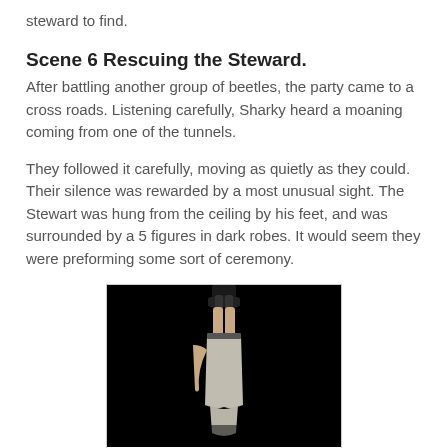steward to find.
Scene 6 Rescuing the Steward.
After battling another group of beetles, the party came to a cross roads. Listening carefully, Sharky heard a moaning coming from one of the tunnels.
They followed it carefully, moving as quietly as they could. Their silence was rewarded by a most unusual sight. The Stewart was hung from the ceiling by his feet, and was surrounded by a 5 figures in dark robes. It would seem they were preforming some sort of ceremony.
[Figure (photo): A dark background photograph showing a person hanging upside down by their feet, wearing light-colored trousers, with dark restraints on the ankles near the top of the image.]